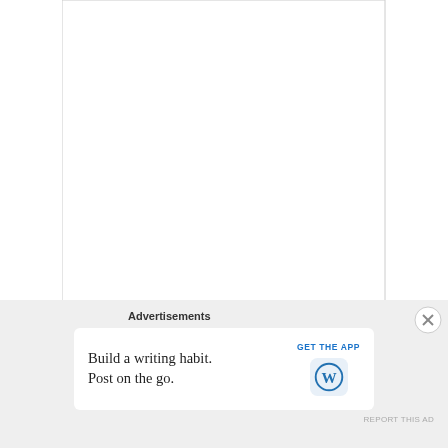[Figure (screenshot): Large empty textarea form field with resize handle at bottom right]
Name *
[Figure (screenshot): Text input field for Name]
Email *
[Figure (screenshot): Advertisement banner: 'Advertisements' label, ad box with text 'Build a writing habit. Post on the go.' and GET THE APP button with WordPress logo, close button (X), and REPORT THIS AD link]